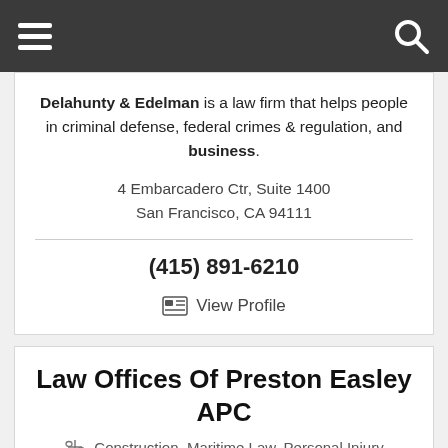Navigation bar with menu and search icons
Delahunty & Edelman is a law firm that helps people in criminal defense, federal crimes & regulation, and business.
4 Embarcadero Ctr, Suite 1400
San Francisco, CA 94111
(415) 891-6210
View Profile
Law Offices Of Preston Easley APC
Construction, Maritime Law, Personal Injury
The Law Offices of Preston Easley have a team of